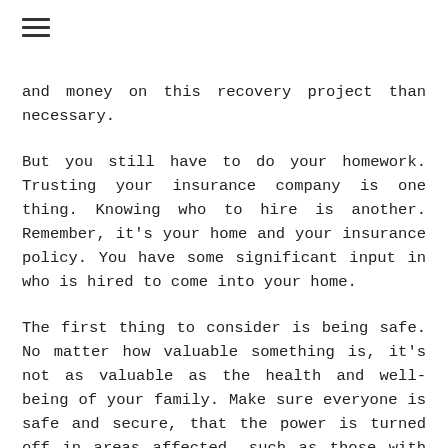≡
and money on this recovery project than necessary.
But you still have to do your homework. Trusting your insurance company is one thing. Knowing who to hire is another. Remember, it's your home and your insurance policy. You have some significant input in who is hired to come into your home.
The first thing to consider is being safe. No matter how valuable something is, it's not as valuable as the health and well-being of your family. Make sure everyone is safe and secure, that the power is turned off in areas affected, such as those with electrical components. But be careful! Just leaving your home and letting